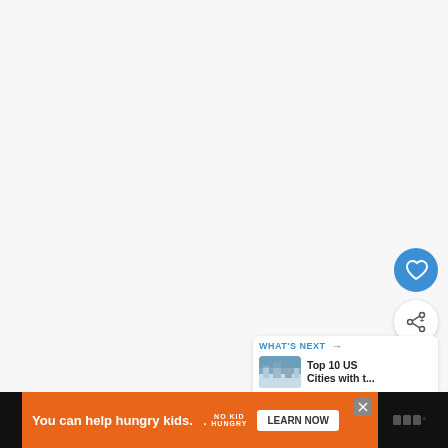[Figure (screenshot): Light gray blank/loading content area filling most of the page]
[Figure (infographic): Blue circular favorite/heart button UI element]
[Figure (infographic): White circular share button UI element with share icon]
[Figure (infographic): What's Next card showing thumbnail image of snowy city scene with text 'Top 10 US Cities with t...' and a logo]
[Figure (infographic): Advertisement bar: orange background with text 'You can help hungry kids.' No Kid Hungry logo and LEARN NOW button on dark background]